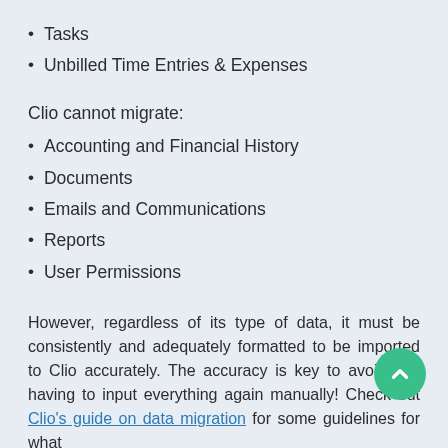Tasks
Unbilled Time Entries & Expenses
Clio cannot migrate:
Accounting and Financial History
Documents
Emails and Communications
Reports
User Permissions
However, regardless of its type of data, it must be consistently and adequately formatted to be imported to Clio accurately. The accuracy is key to avoid you having to input everything again manually! Check out Clio's guide on data migration for some guidelines for what